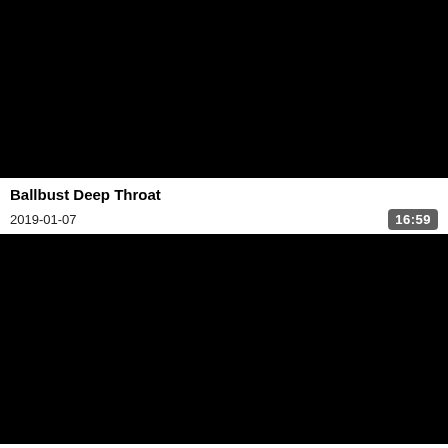[Figure (screenshot): Black video thumbnail rectangle at top]
Ballbust Deep Throat
2019-01-07
16:59
[Figure (screenshot): Black video thumbnail rectangle at bottom]